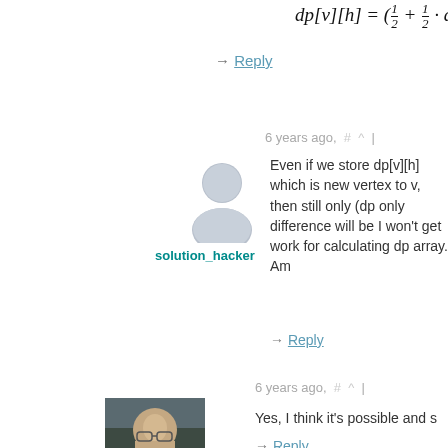→ Reply
6 years ago, # ^ |
[Figure (illustration): Generic user avatar icon (grey silhouette)]
solution_hacker
Even if we store dp[v][h] which is new vertex to v, then still only (dp only difference will be I won't get work for calculating dp array. Am
→ Reply
6 years ago, # ^ |
[Figure (photo): Photo of Errichto, a young man with glasses]
Errichto
Yes, I think it's possible and s
→ Reply
6 years ago, # |
[Figure (photo): Photo of another user, a young person]
I am not able to open editorial's submission submissions. Getting the error "You are not